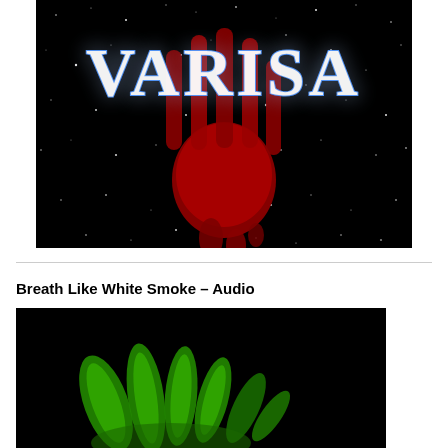[Figure (illustration): Album cover art for VARISA: large white bold text 'VARISA' at top, with a dripping red handprint/bloodied hand in the center, set against a dark starry night sky background.]
Breath Like White Smoke – Audio
[Figure (illustration): Partial view of another album/audio artwork showing green glowing hand/finger shapes against a black background.]